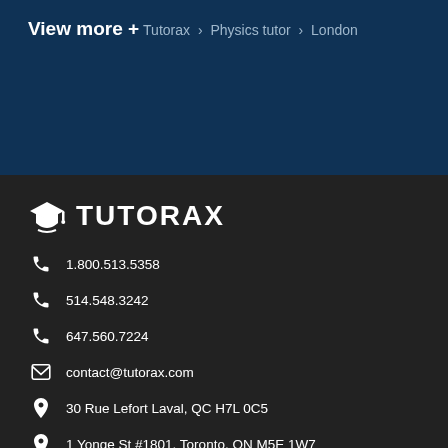View more +
Tutorax › Physics tutor › London
[Figure (logo): Tutorax logo with graduation cap icon and bold text TUTORAX]
1.800.513.5358
514.548.3242
647.560.7224
contact@tutorax.com
30 Rue Lefort Laval, QC H7L 0C5
1 Yonge St #1801, Toronto, ON M5E 1W7
[Figure (logo): Social media icons: Facebook, Instagram, LinkedIn]